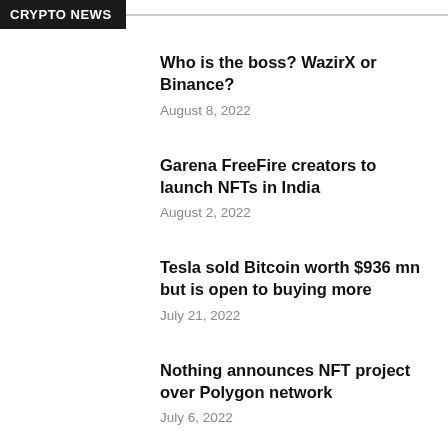CRYPTO NEWS
Who is the boss? WazirX or Binance?
August 8, 2022
Garena FreeFire creators to launch NFTs in India
August 2, 2022
Tesla sold Bitcoin worth $936 mn but is open to buying more
July 21, 2022
Nothing announces NFT project over Polygon network
July 6, 2022